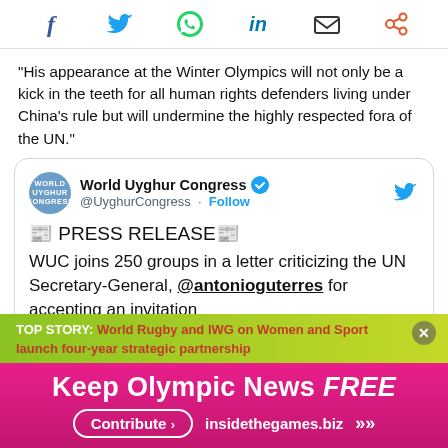[Figure (infographic): Social media sharing icons bar: Facebook, Twitter, WhatsApp, LinkedIn, Email, Share]
"His appearance at the Winter Olympics will not only be a kick in the teeth for all human rights defenders living under China's rule but will undermine the highly respected fora of the UN."
[Figure (screenshot): Embedded tweet from @UyghurCongress (World Uyghur Congress) with press release text: '📰 PRESS RELEASE📰 WUC joins 250 groups in a letter criticizing the UN Secretary-General, @antonioguterres for accepting an invitation to Beijing 2022.']
to Beijing 2022.
"It's incompatible with the UN's core principles"
[Figure (infographic): Advertisement overlay with TOP STORY: World Rugby and IWG on Women and Sport launch four-year strategic partnership. Keep Olympic News FREE. Contribute > insidethegames.biz >>]